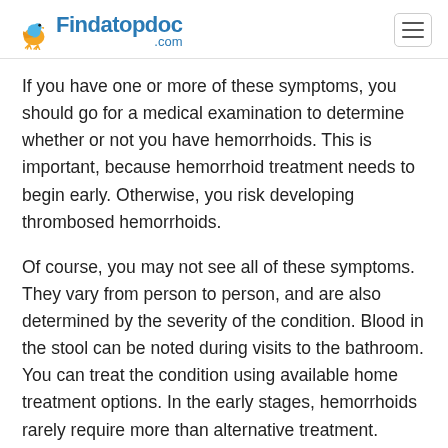Findatopdoc.com
If you have one or more of these symptoms, you should go for a medical examination to determine whether or not you have hemorrhoids. This is important, because hemorrhoid treatment needs to begin early. Otherwise, you risk developing thrombosed hemorrhoids.
Of course, you may not see all of these symptoms. They vary from person to person, and are also determined by the severity of the condition. Blood in the stool can be noted during visits to the bathroom. You can treat the condition using available home treatment options. In the early stages, hemorrhoids rarely require more than alternative treatment.